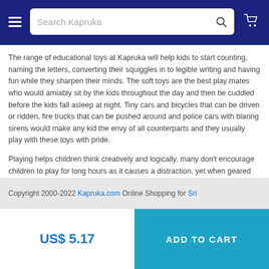Search Kapruka
The range of educational toys at Kapruka will help kids to start counting, naming the letters, converting their squiggles in to legible writing and having fun while they sharpen their minds. The soft toys are the best play mates who would amiably sit by the kids throughout the day and then be cuddled before the kids fall asleep at night. Tiny cars and bicycles that can be driven or ridden, fire trucks that can be pushed around and police cars with blaring sirens would make any kid the envy of all counterparts and they usually play with these toys with pride.
Playing helps children think creatively and logically, many don't encourage children to play for long hours as it causes a distraction, yet when geared with the correct toys and implements, any playground could be a great classroom. Add some sunshine to a child's life with a gift from Kapruka and watch while they blossom.
Copyright 2000-2022 Kapruka.com Online Shopping for Sri
US$ 5.17
ADD TO CART